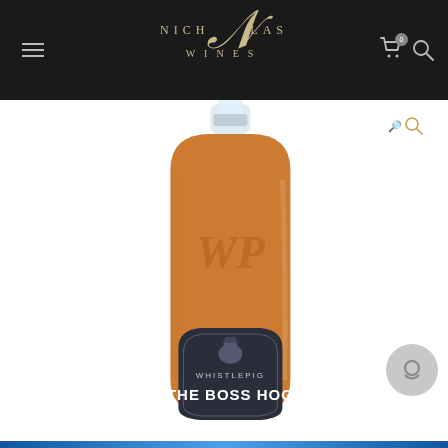NICHOLAS WINES
[Figure (photo): WhistlePig The Boss Hog whiskey bottle with amber liquid visible, dark label showing 'WhistlePig THE BOSS HOG' text and WP monogram embossed on glass]
WhistlePig THE BOSS HOG